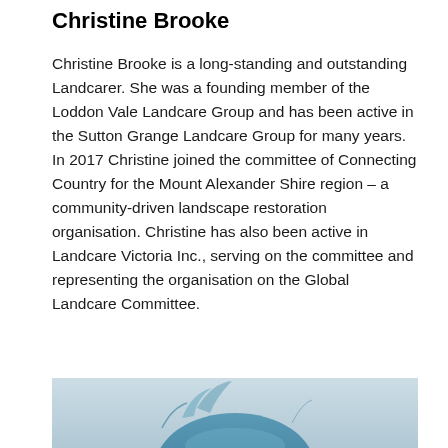Christine Brooke
Christine Brooke is a long-standing and outstanding Landcarer. She was a founding member of the Loddon Vale Landcare Group and has been active in the Sutton Grange Landcare Group for many years. In 2017 Christine joined the committee of Connecting Country for the Mount Alexander Shire region – a community-driven landscape restoration organisation. Christine has also been active in Landcare Victoria Inc., serving on the committee and representing the organisation on the Global Landcare Committee.
[Figure (photo): Partial photo of Christine Brooke showing top of head with blue-tinted hair against a light grey-blue background]